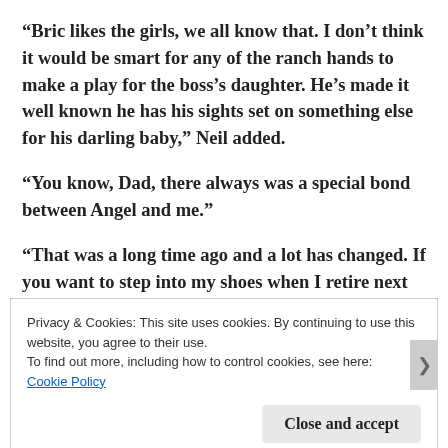“Bric likes the girls, we all know that. I don’t think it would be smart for any of the ranch hands to make a play for the boss’s daughter. He’s made it well known he has his sights set on something else for his darling baby,” Neil added.
“You know, Dad, there always was a special bond between Angel and me.”
“That was a long time ago and a lot has changed. If you want to step into my shoes when I retire next year,
Privacy & Cookies: This site uses cookies. By continuing to use this website, you agree to their use.
To find out more, including how to control cookies, see here: Cookie Policy
Close and accept